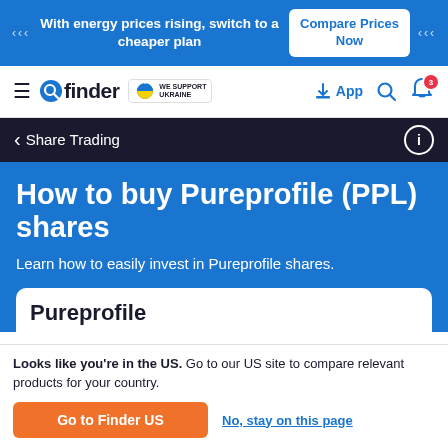With energy prices rising, switch to a cheaper plan | Compare Prices Now
[Figure (logo): Finder.com navigation bar with finder logo, Ukraine support badge, App link, search icon, and notification bell with badge showing 3]
Share Trading
How to buy Pureprofile (PPL) shares
Learn how to easily invest in Pureprofile shares.
Pureprofile
Looks like you're in the US. Go to our US site to compare relevant products for your country.
Go to Finder US
No, stay on this page